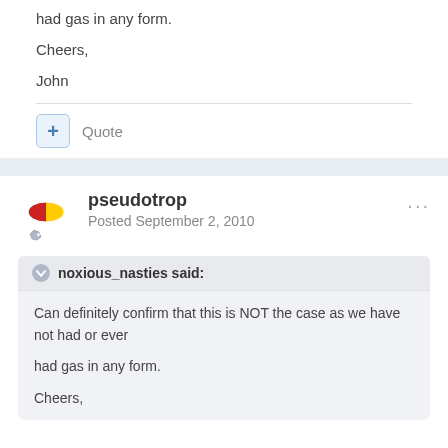had gas in any form.
Cheers,
John
+ Quote
pseudotrop
Posted September 2, 2010
noxious_nasties said:
Can definitely confirm that this is NOT the case as we have not had or ever

had gas in any form.

Cheers,